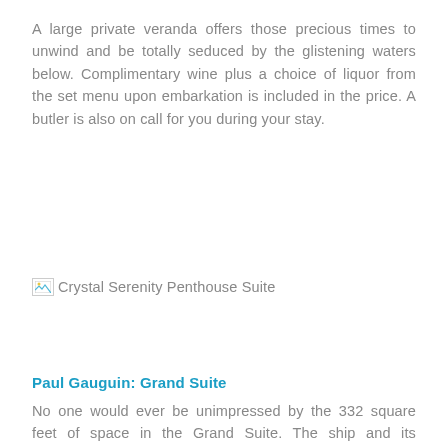A large private veranda offers those precious times to unwind and be totally seduced by the glistening waters below. Complimentary wine plus a choice of liquor from the set menu upon embarkation is included in the price. A butler is also on call for you during your stay.
[Figure (photo): Broken/missing image placeholder with alt text: Crystal Serenity Penthouse Suite]
Paul Gauguin: Grand Suite
No one would ever be unimpressed by the 332 square feet of space in the Grand Suite. The ship and its staterooms are designed to impress. The suites are